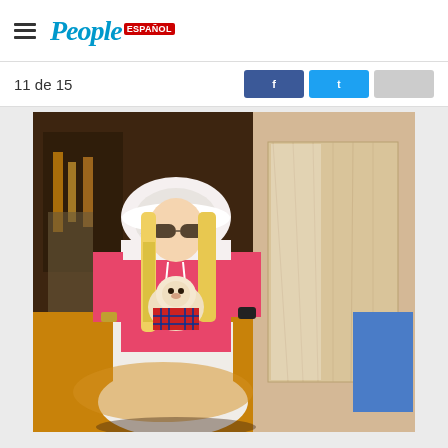People Español
11 de 15
[Figure (photo): A blonde woman wearing large aviator sunglasses and a white furry hooded pink velour tracksuit jacket holds a small white Pomeranian dog dressed in a red plaid outfit. She wears a white skirt. To the right, a large gold/beige wooden board partially obscures another person in blue. The setting appears to be a store interior with warm orange lighting. The woman has long blonde hair flowing over her shoulders.]